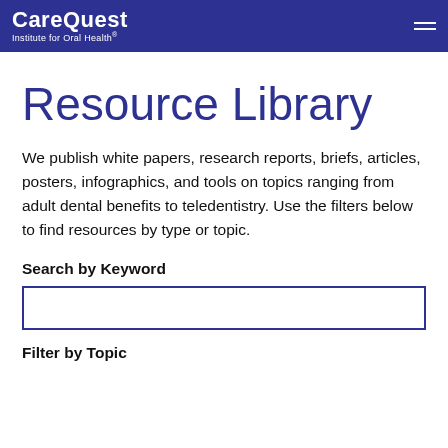CareQuest Institute for Oral Health
Resource Library
We publish white papers, research reports, briefs, articles, posters, infographics, and tools on topics ranging from adult dental benefits to teledentistry. Use the filters below to find resources by type or topic.
Search by Keyword
Filter by Topic